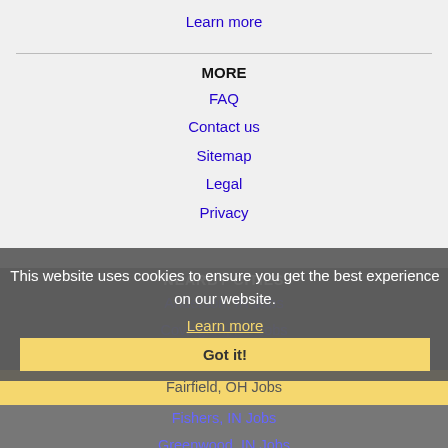Learn more
MORE
FAQ
Contact us
Sitemap
Legal
Privacy
NEARBY CITIES
Anderson, IN Jobs
Covington, KY Jobs
Dayton, OH Jobs
Fairfield, OH Jobs
Fishers, IN Jobs
Greenwood, IN Jobs
This website uses cookies to ensure you get the best experience on our website.
Learn more
Got it!